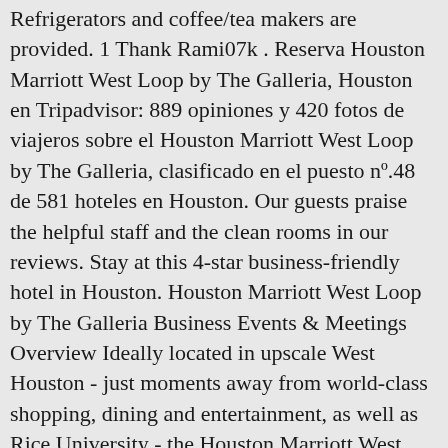Refrigerators and coffee/tea makers are provided. 1 Thank Rami07k . Reserva Houston Marriott West Loop by The Galleria, Houston en Tripadvisor: 889 opiniones y 420 fotos de viajeros sobre el Houston Marriott West Loop by The Galleria, clasificado en el puesto nº.48 de 581 hoteles en Houston. Our guests praise the helpful staff and the clean rooms in our reviews. Stay at this 4-star business-friendly hotel in Houston. Houston Marriott West Loop by The Galleria Business Events & Meetings Overview Ideally located in upscale West Houston - just moments away from world-class shopping, dining and entertainment, as well as Rice University - the Houston Marriott West Loop by The Galleria is the perfect place for groups to blend business and pleasure effortlessly. The Marriott West Loop is 3 minutes from the Galleria Shopping Center by car. Marriott Proprietary Information. Now $119 (Was $135) on Tripadvisor: Houston Marriott West Loop by The Galleria. Houston